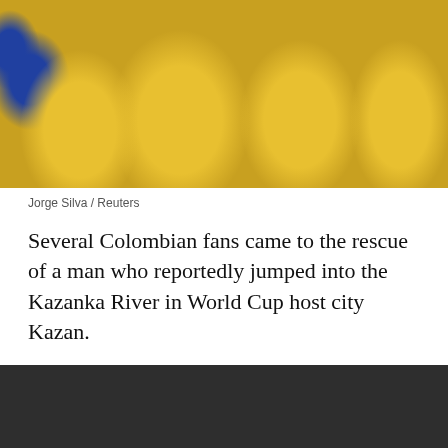[Figure (photo): Crowd of Colombian soccer fans wearing yellow jerseys, with Colombian flag colors visible. Blue bar at top of image.]
Jorge Silva / Reuters
Several Colombian fans came to the rescue of a man who reportedly jumped into the Kazanka River in World Cup host city Kazan.
[Figure (screenshot): Dark video player showing 'This video is private' message with a warning icon circle.]